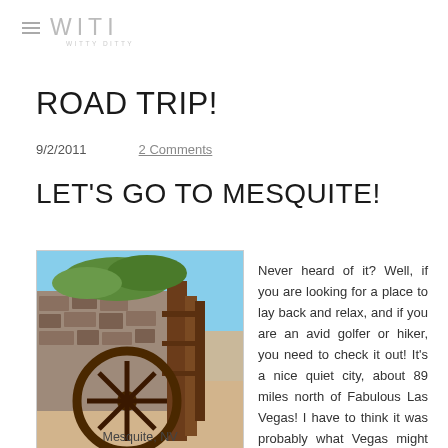≡  W·I·T·I   WITTY DITTY
ROAD TRIP!
9/2/2011    2 Comments
LET'S GO TO MESQUITE!
[Figure (photo): Photo of an old wooden wagon wheel leaning against a stone building, desert setting, Mesquite NV]
Mesquite, NV
Never heard of it? Well, if you are looking for a place to lay back and relax, and if you are an avid golfer or hiker, you need to check it out! It's a nice quiet city, about 89 miles north of Fabulous Las Vegas! I have to think it was probably what Vegas might have been like circa 1940's. Why